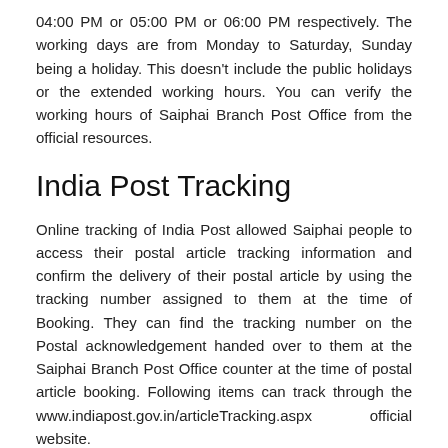04:00 PM or 05:00 PM or 06:00 PM respectively. The working days are from Monday to Saturday, Sunday being a holiday. This doesn't include the public holidays or the extended working hours. You can verify the working hours of Saiphai Branch Post Office from the official resources.
India Post Tracking
Online tracking of India Post allowed Saiphai people to access their postal article tracking information and confirm the delivery of their postal article by using the tracking number assigned to them at the time of Booking. They can find the tracking number on the Postal acknowledgement handed over to them at the Saiphai Branch Post Office counter at the time of postal article booking. Following items can track through the www.indiapost.gov.in/articleTracking.aspx official website.
Business Parcel
Business Parcel COD
Electronic Money Order (eMO)